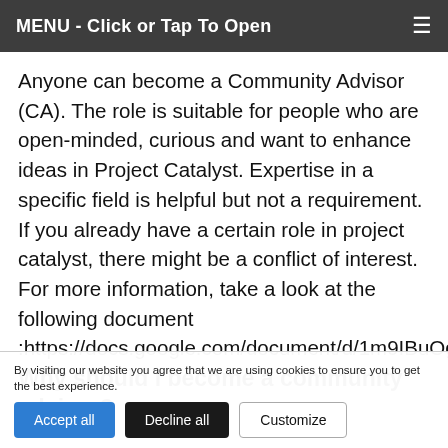MENU - Click or Tap To Open
Anyone can become a Community Advisor (CA). The role is suitable for people who are open-minded, curious and want to enhance ideas in Project Catalyst. Expertise in a specific field is helpful but not a requirement. If you already have a certain role in project catalyst, there might be a conflict of interest. For more information, take a look at the following document :https://docs.google.com/document/d/1m9IBuOgfF
Why should I become a community advisor?
By visiting our website you agree that we are using cookies to ensure you to get the best experience.